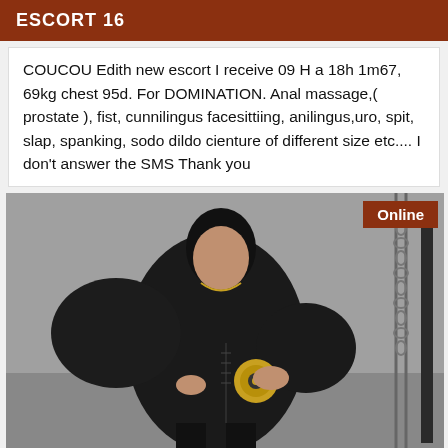ESCORT 16
COUCOU Edith new escort I receive 09 H a 18h 1m67, 69kg chest 95d. For DOMINATION. Anal massage,( prostate ), fist, cunnilingus facesittiing, anilingus,uro, spit, slap, spanking, sodo dildo cienture of different size etc.... I don't answer the SMS Thank you
[Figure (photo): Person dressed in black leather outfit with large gold medallion belt buckle, standing against a grey background with metal chains visible on the right side. An 'Online' badge appears in the upper right corner of the image.]